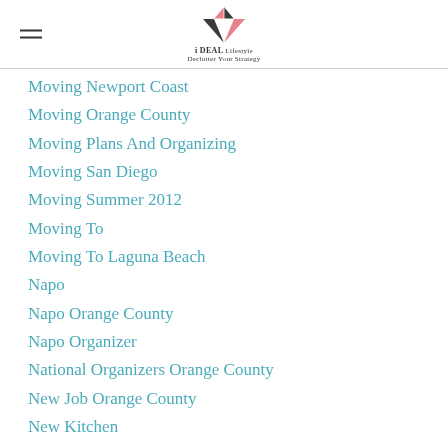iDEAL Lifestyle — Declutter Your Strategy
Moving Newport Coast
Moving Orange County
Moving Plans And Organizing
Moving San Diego
Moving Summer 2012
Moving To
Moving To Laguna Beach
Napo
Napo Orange County
Napo Organizer
National Organizers Orange County
New Job Orange County
New Kitchen
Newport Beach
Newport Beach Decorate
Newport Beach Organzier
Newport Cleaning